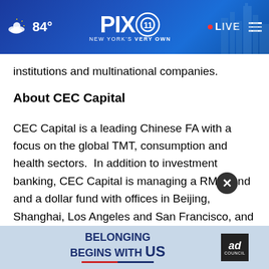[Figure (screenshot): PIX 11 News website header bar showing weather (partly cloudy, 84°), PIX 11 logo with 'New York's Very Own' tagline, LIVE button, and hamburger menu icon against a blue gradient background with city skyline.]
institutions and multinational companies.
About CEC Capital
CEC Capital is a leading Chinese FA with a focus on the global TMT, consumption and health sectors.  In addition to investment banking, CEC Capital is managing a RMB fund and a dollar fund with offices in Beijing, Shanghai, Los Angeles and San Francisco, and it also has a licens healthcare industry is an advantageous industry
[Figure (screenshot): Ad overlay showing 'Belonging Begins With US' Ad Council advertisement with blue and red branding, partially covering body text, alongside a close (X) button.]